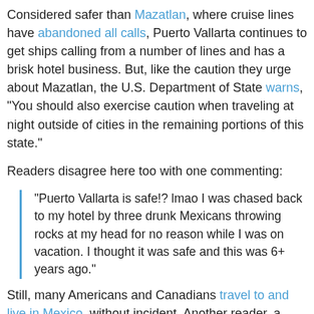Considered safer than Mazatlan, where cruise lines have abandoned all calls, Puerto Vallarta continues to get ships calling from a number of lines and has a brisk hotel business. But, like the caution they urge about Mazatlan, the U.S. Department of State warns, "You should also exercise caution when traveling at night outside of cities in the remaining portions of this state."
Readers disagree here too with one commenting:
“Puerto Vallarta is safe!? lmao I was chased back to my hotel by three drunk Mexicans throwing rocks at my head for no reason while I was on vacation. I thought it was safe and this was 6+ years ago.”
Still, many Americans and Canadians travel to and live in Mexico, without incident. Another reader, a New Yorker who lives in Mexico during the winter, has a different take on safety in Mexico: